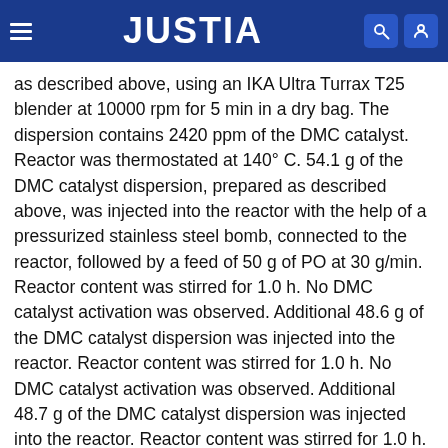JUSTIA
as described above, using an IKA Ultra Turrax T25 blender at 10000 rpm for 5 min in a dry bag. The dispersion contains 2420 ppm of the DMC catalyst. Reactor was thermostated at 140° C. 54.1 g of the DMC catalyst dispersion, prepared as described above, was injected into the reactor with the help of a pressurized stainless steel bomb, connected to the reactor, followed by a feed of 50 g of PO at 30 g/min. Reactor content was stirred for 1.0 h. No DMC catalyst activation was observed. Additional 48.6 g of the DMC catalyst dispersion was injected into the reactor. Reactor content was stirred for 1.0 h. No DMC catalyst activation was observed. Additional 48.7 g of the DMC catalyst dispersion was injected into the reactor. Reactor content was stirred for 1.0 h. No DMC catalyst activation was observed. Additional 50.3 g of the DMC catalyst dispersion was injected into the reactor, followed by a